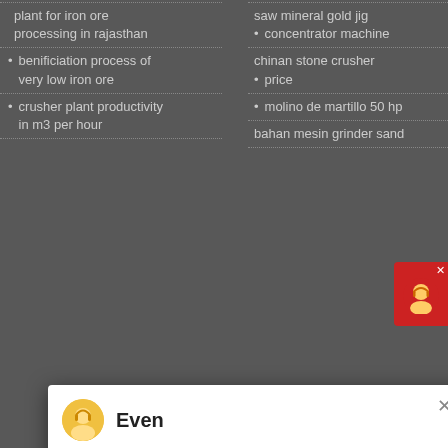plant for iron ore processing in rajasthan
benificiation process of very low iron ore
crusher plant productivity in m3 per hour
saw mineral gold jig concentrator machine
chinan stone crusher price
molino de martillo 50 hp
bahan mesin grinder sand
[Figure (screenshot): Chat popup with avatar of agent named Even. Message reads: Hello, I am Even, I am very glad to talk with you!]
More details
Contact us
mineral processing unit ilmenite ore beneficiation spiral chute
beneficiation sintering of iron ore
Newyork Still Road
Office 802A, #16 Building, No. 1000 Jinhai Road, Golden Bridge County, Pudong New Dictrict, Shanghai, China